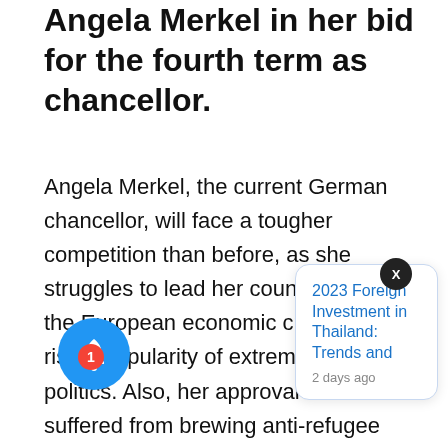Angela Merkel in her bid for the fourth term as chancellor.
Angela Merkel, the current German chancellor, will face a tougher competition than before, as she struggles to lead her country through the European economic crisis and rising popularity of extreme-right politics. Also, her approval rate has suffered from brewing anti-refugee sentiments. So far, campaigns on refugee restriction have won the Alternative for Germany (AfD) local elections in some regions.
ever, nationwide popularity of the AfD remains limited. The key rival to Merkel is, in fact